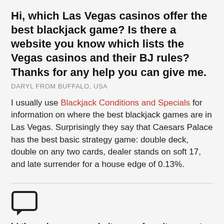Hi, which Las Vegas casinos offer the best blackjack game? Is there a website you know which lists the Vegas casinos and their BJ rules? Thanks for any help you can give me.
DARYL FROM BUFFALO, USA
I usually use Blackjack Conditions and Specials for information on where the best blackjack games are in Las Vegas. Surprisingly they say that Caesars Palace has the best basic strategy game: double deck, double on any two cards, dealer stands on soft 17, and late surrender for a house edge of 0.13%.
[Figure (illustration): Speech/comment bubble icon]
hi there..love your website....my favorite game to play in ac is triple action blackjack...i wanted to know if u had a strategy chart for that game, and if the strategy changes, which it seems to, and for points if...